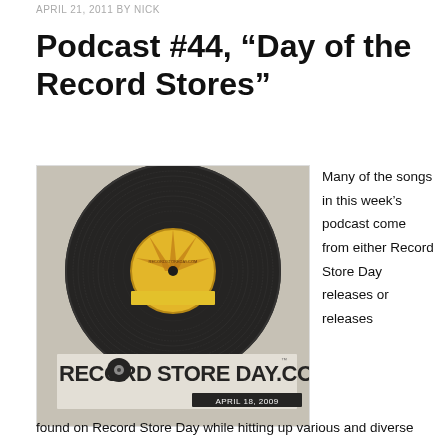APRIL 21, 2011 BY NICK
Podcast #44, “Day of the Record Stores”
[Figure (photo): Record Store Day logo image featuring a vinyl record with label reading RECORDSTOREDAY.COM and text 'RECORD STORE DAY.COM' with 'APRIL 18, 2009' banner]
Many of the songs in this week’s podcast come from either Record Store Day releases or releases
found on Record Store Day while hitting up various and diverse